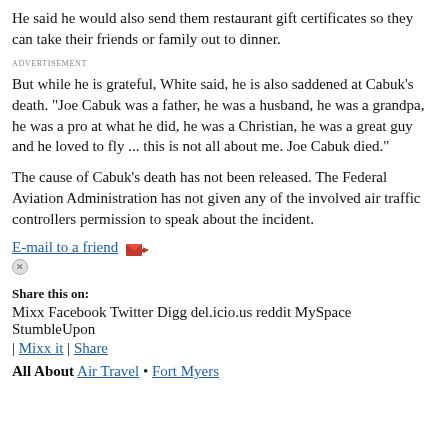He said he would also send them restaurant gift certificates so they can take their friends or family out to dinner.
ADVERTISEMENT
But while he is grateful, White said, he is also saddened at Cabuk's death. "Joe Cabuk was a father, he was a husband, he was a grandpa, he was a pro at what he did, he was a Christian, he was a great guy and he loved to fly ... this is not all about me. Joe Cabuk died."
The cause of Cabuk's death has not been released. The Federal Aviation Administration has not given any of the involved air traffic controllers permission to speak about the incident.
E-mail to a friend
Share this on:
Mixx Facebook Twitter Digg del.icio.us reddit MySpace StumbleUpon
| Mixx it | Share
All About Air Travel • Fort Myers